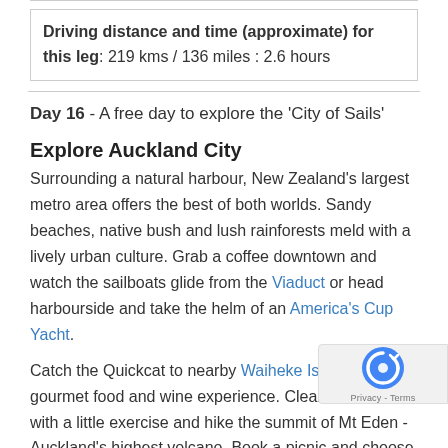Driving distance and time (approximate) for this leg: 219 kms / 136 miles : 2.6 hours
Day 16 - A free day to explore the 'City of Sails'
Explore Auckland City
Surrounding a natural harbour, New Zealand's largest metro area offers the best of both worlds. Sandy beaches, native bush and lush rainforests meld with a lively urban culture. Grab a coffee downtown and watch the sailboats glide from the Viaduct or head harbourside and take the helm of an America's Cup Yacht.
Catch the Quickcat to nearby Waiheke Island for a gourmet food and wine experience. Clear the cobwebs with a little exercise and hike the summit of Mt Eden - Auckland's highest volcano. Book a picnic and choose one of 800 regional national parks to ex... Hunua Falls - located within the Hunua Ranges - is one no...